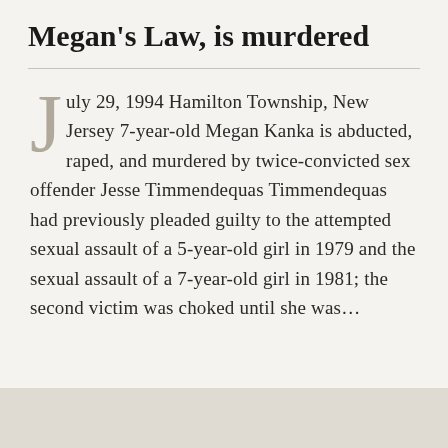Megan's Law, is murdered
July 29, 1994 Hamilton Township, New Jersey 7-year-old Megan Kanka is abducted, raped, and murdered by twice-convicted sex offender Jesse Timmendequas Timmendequas had previously pleaded guilty to the attempted sexual assault of a 5-year-old girl in 1979 and the sexual assault of a 7-year-old girl in 1981; the second victim was choked until she was...